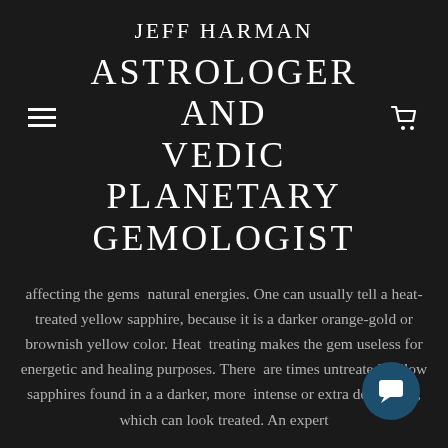JEFF HARMAN
ASTROLOGER AND VEDIC PLANETARY GEMOLOGIST
affecting the gems  natural energies. One can usually tell a heat-treated yellow sapphire, because it is a darker orange-gold or brownish yellow color. Heat  treating makes the gem useless for energetic and healing purposes. There  are times untreated yellow sapphires found in a a darker, more  intense or extra deep color, which can look treated. An expert